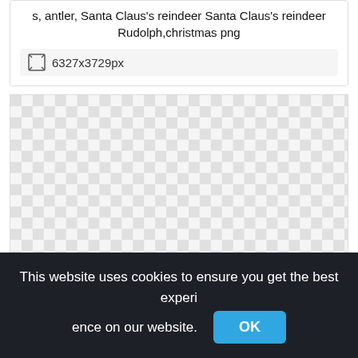s, antler, Santa Claus's reindeer Santa Claus's reindeer Rudolph,christmas png
6327x3729px
[Figure (other): Transparent PNG preview area shown as a grey and white checkerboard pattern indicating transparency.]
This website uses cookies to ensure you get the best experience on our website.